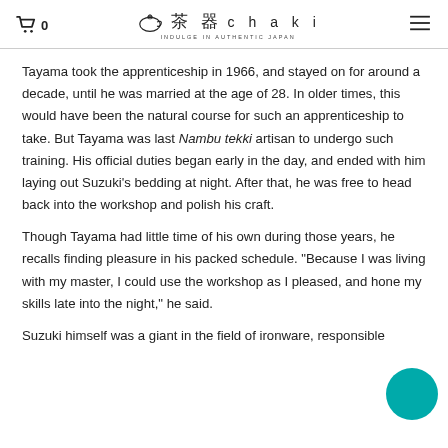🛒0  茶器 chaki  INDULGE IN AUTHENTIC JAPAN  ☰
Tayama took the apprenticeship in 1966, and stayed on for around a decade, until he was married at the age of 28. In older times, this would have been the natural course for such an apprenticeship to take. But Tayama was last Nambu tekki artisan to undergo such training. His official duties began early in the day, and ended with him laying out Suzuki's bedding at night. After that, he was free to head back into the workshop and polish his craft.
Though Tayama had little time of his own during those years, he recalls finding pleasure in his packed schedule. "Because I was living with my master, I could use the workshop as I pleased, and hone my skills late into the night," he said.
Suzuki himself was a giant in the field of ironware, responsible